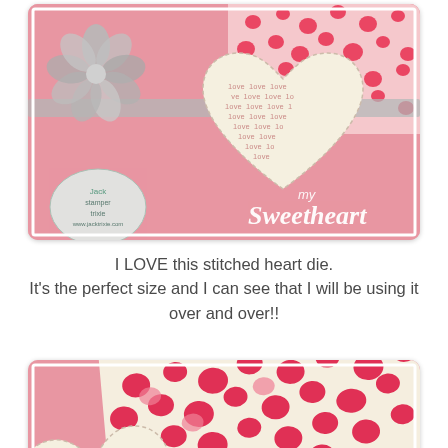[Figure (photo): Valentine's Day handmade greeting card with pink background, red heart pattern paper, a stitched heart shape with 'love' text pattern, gray ruffled flower embellishment, and white cursive text reading 'my Sweetheart']
I LOVE this stitched heart die.
It's the perfect size and I can see that I will be using it over and over!!
[Figure (photo): Close-up of Valentine's Day card showing red heart pattern paper, a stitched heart with 'love love love' text pattern, and a silver glittery heart embellishment]